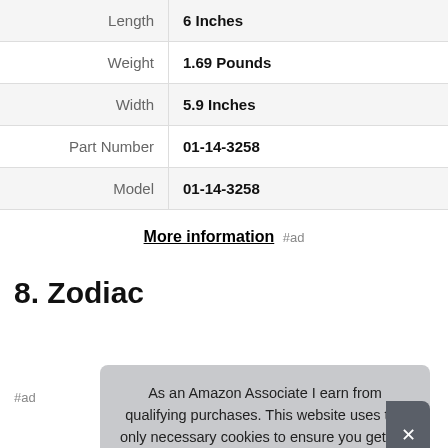| Attribute | Value |
| --- | --- |
| Length | 6 Inches |
| Weight | 1.69 Pounds |
| Width | 5.9 Inches |
| Part Number | 01-14-3258 |
| Model | 01-14-3258 |
More information #ad
8. Zodiac
#ad
As an Amazon Associate I earn from qualifying purchases. This website uses the only necessary cookies to ensure you get the best experience on our website. More information